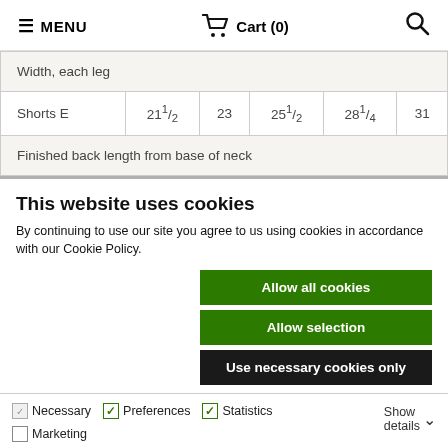MENU | Cart (0) | Search
|  |  |  |  |  |  |
| --- | --- | --- | --- | --- | --- |
| Width, each leg |  |  |  |  |  |
| Shorts E | 21½ | 23 | 25½ | 28¼ | 31 |
| Finished back length from base of neck |  |  |  |  |  |
This website uses cookies
By continuing to use our site you agree to us using cookies in accordance with our Cookie Policy.
Allow all cookies
Allow selection
Use necessary cookies only
Necessary  Preferences  Statistics  Marketing  Show details